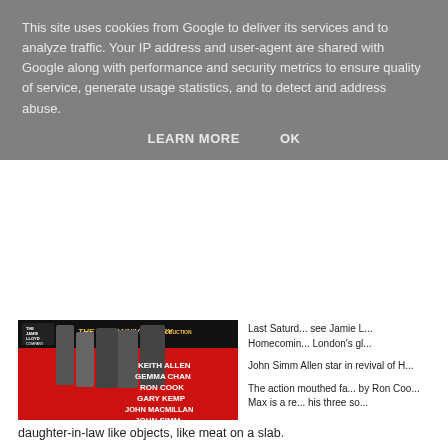This site uses cookies from Google to deliver its services and to analyze traffic. Your IP address and user-agent are shared with Google along with performance and security metrics to ensure quality of service, generate usage statistics, and to detect and address abuse.
LEARN MORE   OK
[Figure (photo): Promotional poster for The Homecoming, The Jamie Lloyd Company. 50th Anniversary Production. Cast: Keith Allen, Gemma Chan, Ron Cook, Gary Kemp, John Macmillan, John Simm. By Harold Pinter, directed by Jamie Lloyd. 14 Nov 2015 – 13 Feb 2016. Red and black graphic design with cast photos.]
Last Saturday see Jamie Lloyd Homecoming London's gl...
John Simm Allen star in revival of H...
The action mouthed fa... by Ron Coo... Max is a re... his three so...
daughter-in-law like objects, like meat on a slab.